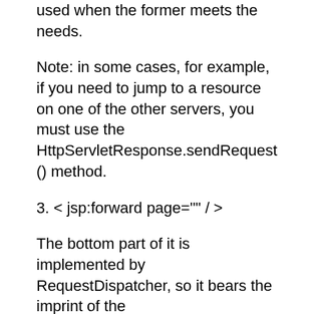used when the former meets the needs.
Note: in some cases, for example, if you need to jump to a resource on one of the other servers, you must use the HttpServletResponse.sendRequest () method.
3. < jsp:forward page="" / >
The bottom part of it is implemented by RequestDispatcher, so it bears the imprint of the RequestDispatcher.forward () method.
If the < jsp:forward > There is a lot of output before, the previous output has filled the buffer, will be automatically output to the client, then this statement will not work, this point should be noted.